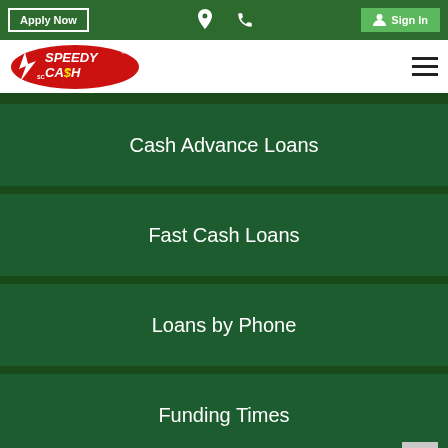Apply Now | [location icon] | [phone icon] | Sign In
[Figure (logo): Speedy Cash logo — red oval with white text 'SPEEDY CASH' and lightning bolt marks, 'SC' at lower left]
Cash Advance Loans
Fast Cash Loans
Loans by Phone
Funding Times